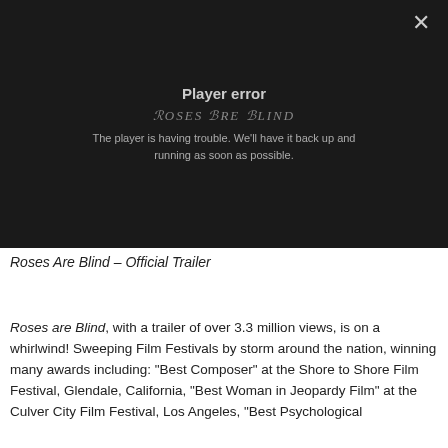[Figure (screenshot): Video player showing an error message. Dark black background with a close (×) button in the top right. Text reads 'Player error' and 'The player is having trouble. We'll have it back up and running as soon as possible.' Overlaid faintly is a 'Roses Are Blind' logo text.]
Roses Are Blind – Official Trailer
Roses are Blind, with a trailer of over 3.3 million views, is on a whirlwind! Sweeping Film Festivals by storm around the nation, winning many awards including: "Best Composer" at the Shore to Shore Film Festival, Glendale, California, "Best Woman in Jeopardy Film" at the Culver City Film Festival, Los Angeles, "Best Psychological